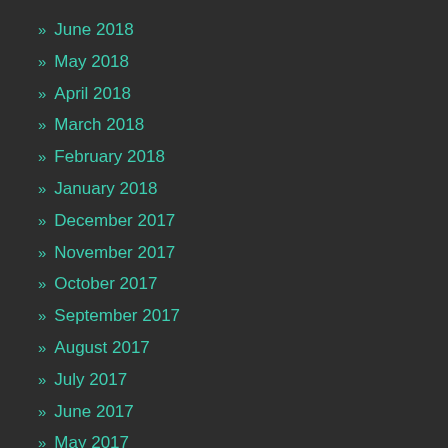» June 2018
» May 2018
» April 2018
» March 2018
» February 2018
» January 2018
» December 2017
» November 2017
» October 2017
» September 2017
» August 2017
» July 2017
» June 2017
» May 2017